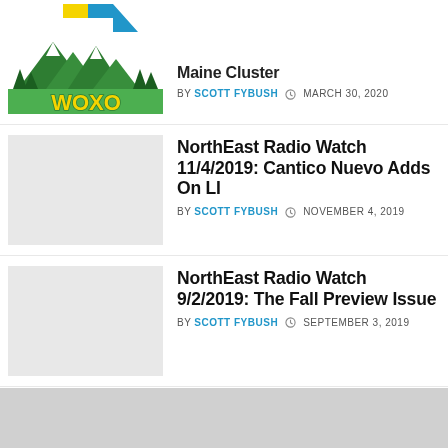[Figure (logo): WOXO radio station logo with mountain and trees illustration]
Maine Cluster
BY SCOTT FYBUSH  MARCH 30, 2020
[Figure (photo): Thumbnail image placeholder (light gray)]
NorthEast Radio Watch 11/4/2019: Cantico Nuevo Adds On LI
BY SCOTT FYBUSH  NOVEMBER 4, 2019
[Figure (photo): Thumbnail image placeholder (light gray)]
NorthEast Radio Watch 9/2/2019: The Fall Preview Issue
BY SCOTT FYBUSH  SEPTEMBER 3, 2019
[Figure (photo): Thumbnail image placeholder (light gray)]
NorthEast Radio Watch 8/26/2019: Focus on Central PA